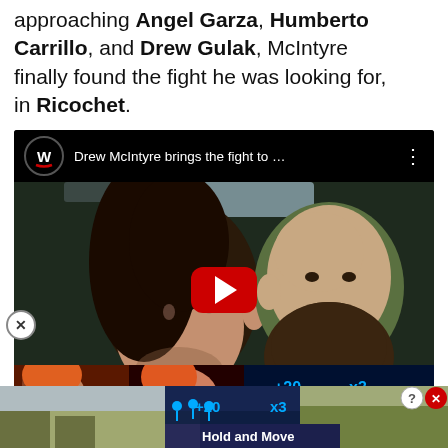approaching Angel Garza, Humberto Carrillo, and Drew Gulak, McIntyre finally found the fight he was looking for, in Ricochet.
[Figure (screenshot): YouTube video embed showing Drew McIntyre brings the fight to ... WWE RAW thumbnail with two wrestlers facing each other and a YouTube play button. Below it shows a suggested video strip with thumbnails and an ad banner at the bottom saying Hold and Move.]